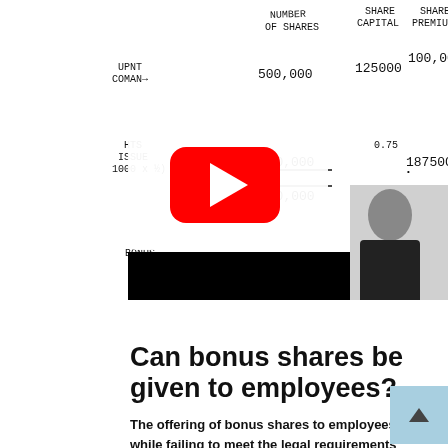[Figure (other): Handwritten accounting table showing share capital entries: columns for Number of Shares, Share Capital, Share Premium. Rows: UPNT COMAN 500,000 / 125,000 / 100,000; HTS ISSUE 1000x1/2 showing 250,000 / 0.75 / 187,500; total 750,000. A YouTube play button overlay is visible. BONUS ISSUE label at bottom left.]
Can bonus shares be given to employees?
The offering of bonus shares to employees while failing to meet the legal requirements